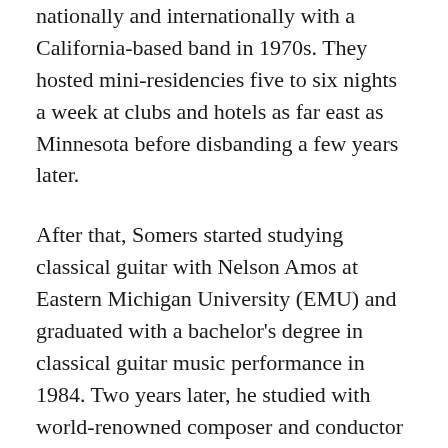nationally and internationally with a California-based band in 1970s. They hosted mini-residencies five to six nights a week at clubs and hotels as far east as Minnesota before disbanding a few years later.
After that, Somers started studying classical guitar with Nelson Amos at Eastern Michigan University (EMU) and graduated with a bachelor's degree in classical guitar music performance in 1984. Two years later, he studied with world-renowned composer and conductor Anthony Iannaccone while earning a master's degree in music theory and composition from EMU.
“When I was still an undergraduate, he accepted me, and we worked for a couple of years and made some good progress writing music for piano, guitar